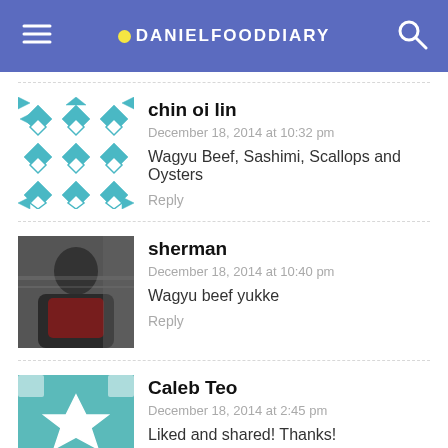DANIELFOODDIARY
chin oi lin
December 18, 2014 at 10:32 pm
Wagyu Beef, Sashimi, Scallops and Oysters
Reply
sherman
December 18, 2014 at 10:40 pm
Wagyu beef yukke
Reply
Caleb Teo
December 18, 2014 at 2:45 pm
Liked and shared! Thanks!
Reply